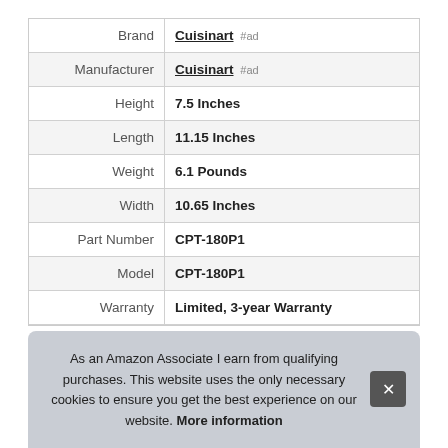| Attribute | Value |
| --- | --- |
| Brand | Cuisinart #ad |
| Manufacturer | Cuisinart #ad |
| Height | 7.5 Inches |
| Length | 11.15 Inches |
| Weight | 6.1 Pounds |
| Width | 10.65 Inches |
| Part Number | CPT-180P1 |
| Model | CPT-180P1 |
| Warranty | Limited, 3-year Warranty |
As an Amazon Associate I earn from qualifying purchases. This website uses the only necessary cookies to ensure you get the best experience on our website. More information